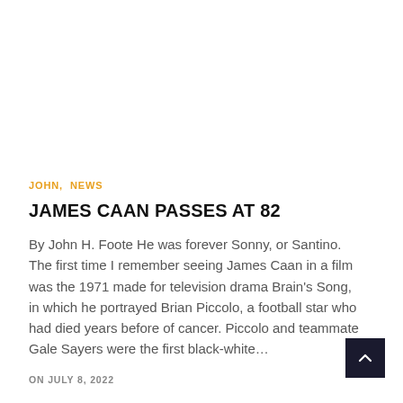JOHN, NEWS
JAMES CAAN PASSES AT 82
By John H. Foote He was forever Sonny, or Santino. The first time I remember seeing James Caan in a film was the 1971 made for television drama Brain's Song, in which he portrayed Brian Piccolo, a football star who had died years before of cancer. Piccolo and teammate Gale Sayers were the first black-white…
ON JULY 8, 2022